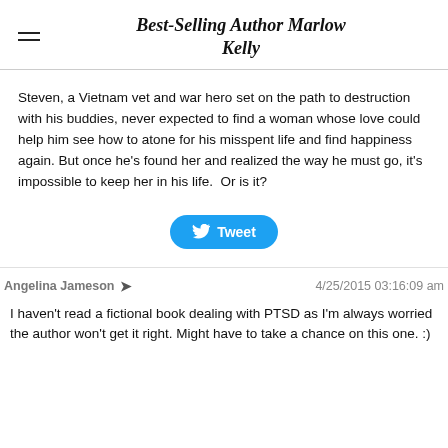Best-Selling Author Marlow Kelly
Steven, a Vietnam vet and war hero set on the path to destruction with his buddies, never expected to find a woman whose love could help him see how to atone for his misspent life and find happiness again. But once he's found her and realized the way he must go, it's impossible to keep her in his life.  Or is it?
[Figure (other): Twitter Tweet button (blue rounded rectangle with bird icon and 'Tweet' text)]
Angelina Jameson  ➤  4/25/2015 03:16:09 am
I haven't read a fictional book dealing with PTSD as I'm always worried the author won't get it right. Might have to take a chance on this one. :)